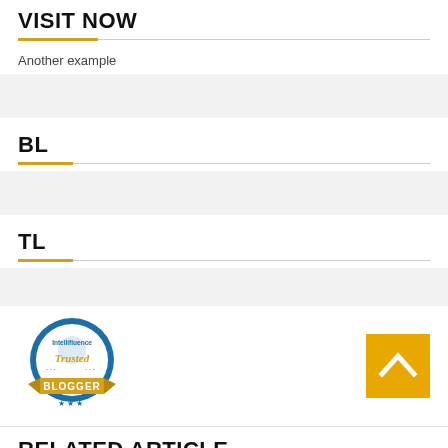VISIT NOW
Another example
BL
TL
[Figure (logo): Intellifluence Trusted Blogger badge — circular blue badge with ribbon reading BLOGGER]
[Figure (other): Back to top button — gold/yellow square with upward chevron arrow]
RELATED ARTICLE